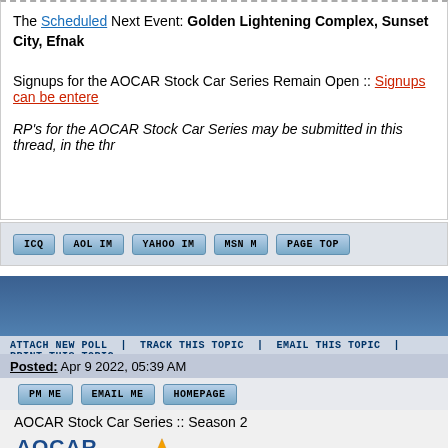The Scheduled Next Event: Golden Lightening Complex, Sunset City, Efnak
Signups for the AOCAR Stock Car Series Remain Open :: Signups can be entered
RP's for the AOCAR Stock Car Series may be submitted in this thread, in the thr
ICQ | AOL IM | YAHOO IM | MSN M | PAGE TOP
ATTACH NEW POLL | TRACK THIS TOPIC | EMAIL THIS TOPIC | PRINT THIS TOPIC
Posted: Apr 9 2022, 05:39 AM
PM ME | EMAIL ME | HOMEPAGE
AOCAR Stock Car Series :: Season 2
[Figure (logo): AOCAR Stock Car Series logo with star and text]